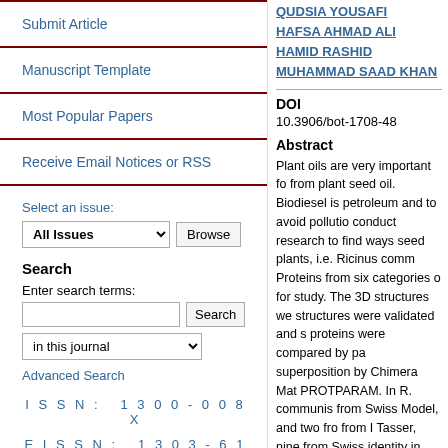Submit Article
Manuscript Template
Most Popular Papers
Receive Email Notices or RSS
Select an issue:
Search
Enter search terms:
in this journal
Advanced Search
ISSN: 1300-008X
EISSN: 1303-6106
QUDSIA YOUSAFI
HAFSA AHMAD ALI
HAMID RASHID
MUHAMMAD SAAD KHAN
DOI
10.3906/bot-1708-48
Abstract
Plant oils are very important fo from plant seed oil. Biodiesel is petroleum and to avoid pollutio conduct research to find ways seed plants, i.e. Ricinus comm Proteins from six categories o for study. The 3D structures we structures were validated and s proteins were compared by pa superposition by Chimera Mat PROTPARAM. In R. communis from Swiss Model, and two fro from I Tasser, nine from Swiss identity in pairwise sequence a carboxylase. Biotin carrier was Monogalactosyldiacylglycero